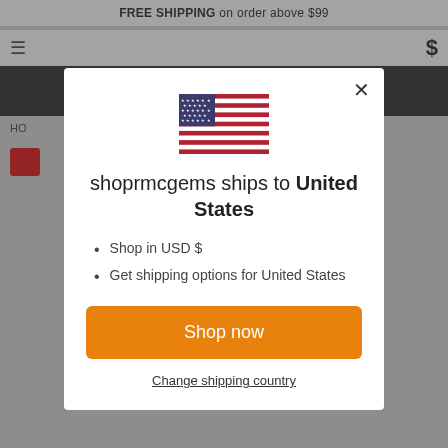FREE SHIPPING on order above $99
[Figure (screenshot): Website background with navigation bar, black header bar, breadcrumb HO..., red badge, and gemstone product images]
[Figure (illustration): United States flag SVG illustration]
shoprmcgems ships to United States
Shop in USD $
Get shipping options for United States
Shop now
Change shipping country